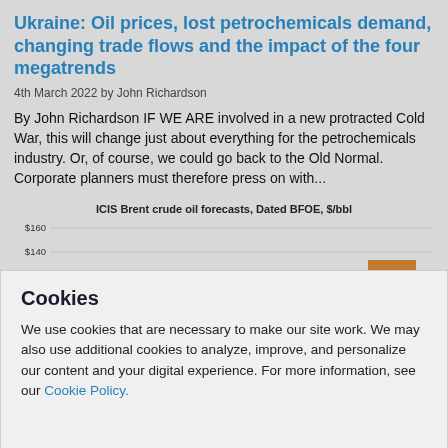Ukraine: Oil prices, lost petrochemicals demand, changing trade flows and the impact of the four megatrends
4th March 2022 by John Richardson
By John Richardson IF WE ARE involved in a new protracted Cold War, this will change just about everything for the petrochemicals industry. Or, of course, we could go back to the Old Normal. Corporate planners must therefore press on with...
[Figure (bar-chart): ICIS Brent crude oil forecasts, Dated BFOE, $/bbl]
Cookies
We use cookies that are necessary to make our site work. We may also use additional cookies to analyze, improve, and personalize our content and your digital experience. For more information, see our Cookie Policy.